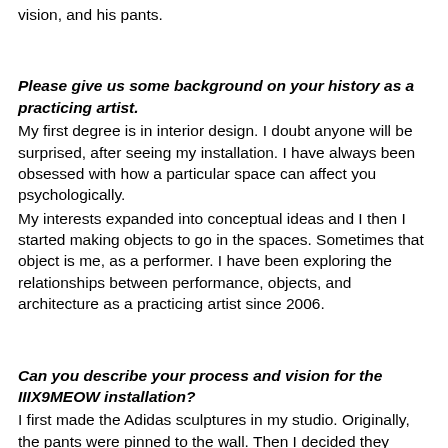vision, and his pants.
Please give us some background on your history as a practicing artist.
My first degree is in interior design. I doubt anyone will be surprised, after seeing my installation. I have always been obsessed with how a particular space can affect you psychologically.
My interests expanded into conceptual ideas and I then I started making objects to go in the spaces. Sometimes that object is me, as a performer. I have been exploring the relationships between performance, objects, and architecture as a practicing artist since 2006.
Can you describe your process and vision for the IIIX9MEOW installation?
I first made the Adidas sculptures in my studio. Originally, the pants were pinned to the wall. Then I decided they